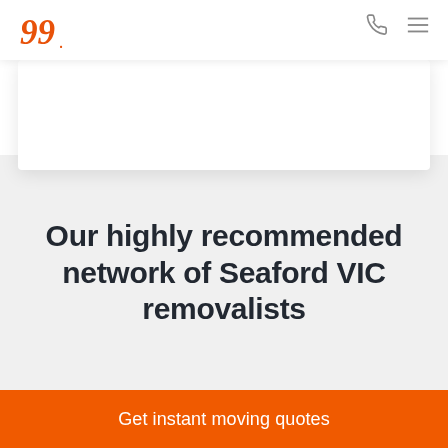Our highly recommended network of Seaford VIC removalists
Get instant moving quotes